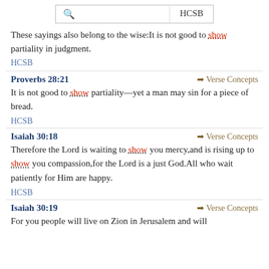[Figure (screenshot): Search bar with magnifying glass icon and HCSB button]
These sayings also belong to the wise:It is not good to show partiality in judgment.
HCSB
Proverbs 28:21
Verse Concepts
It is not good to show partiality—yet a man may sin for a piece of bread.
HCSB
Isaiah 30:18
Verse Concepts
Therefore the Lord is waiting to show you mercy,and is rising up to show you compassion,for the Lord is a just God.All who wait patiently for Him are happy.
HCSB
Isaiah 30:19
Verse Concepts
For you people will live on Zion in Jerusalem and will